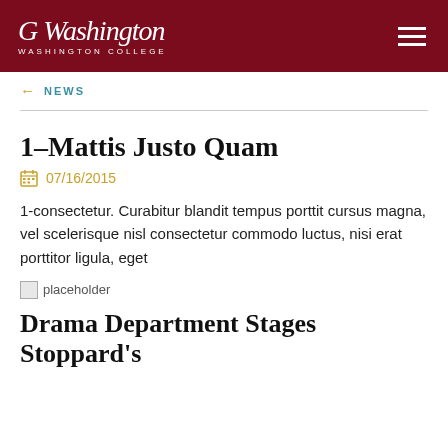Washington College
← NEWS
1–Mattis Justo Quam
07/16/2015
1-consectetur. Curabitur blandit tempus porttitor cursus magna, vel scelerisque nisl consectetur commodo luctus, nisi erat porttitor ligula, eget
[Figure (photo): Placeholder image]
Drama Department Stages Stoppard's